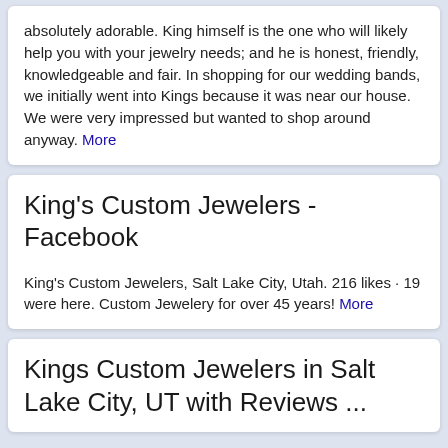absolutely adorable. King himself is the one who will likely help you with your jewelry needs; and he is honest, friendly, knowledgeable and fair. In shopping for our wedding bands, we initially went into Kings because it was near our house. We were very impressed but wanted to shop around anyway. More
King's Custom Jewelers - Facebook
King's Custom Jewelers, Salt Lake City, Utah. 216 likes · 19 were here. Custom Jewelery for over 45 years! More
Kings Custom Jewelers in Salt Lake City, UT with Reviews ...